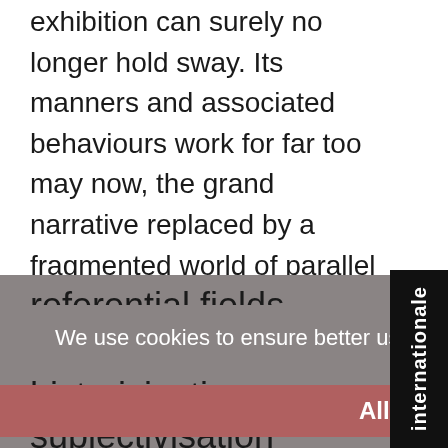exhibition can surely no longer hold sway. Its manners and associated behaviours work for far too may now, the grand narrative replaced by a fragmented world of parallel micro-narratives, the international replaced with the interlocal. If exhibitions are founded on autonomy, what new platforms for art could we imagine that are founded on ecology?
referential fields
historicisation
subjectivisation
We use cookies to ensure better user experience on our website.  Cookie Policy
Allow cookies
internationale